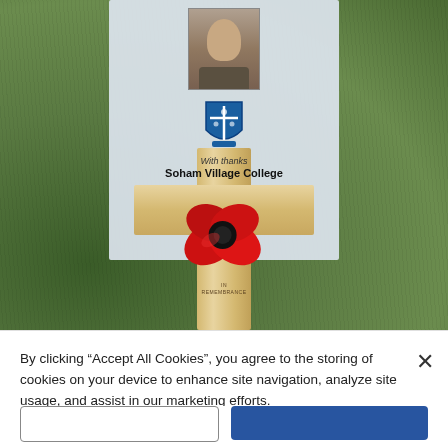[Figure (photo): A wooden memorial cross with a red poppy attached, placed in front of a white card bearing a portrait photograph and a school crest with the text 'With thanks Soham Village College'. The cross reads 'IN REMEMBRANCE'. The whole scene is set on grass.]
By clicking “Accept All Cookies”, you agree to the storing of cookies on your device to enhance site navigation, analyze site usage, and assist in our marketing efforts.